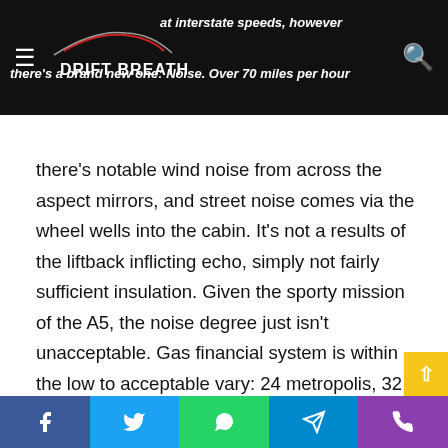Drift Breath
at interstate speeds, however there's a brand new one: Noise. Over 70 miles per hour there's notable wind noise from across the aspect mirrors, and street noise comes via the wheel wells into the cabin. It's not a results of the liftback inflicting echo, simply not fairly sufficient insulation. Given the sporty mission of the A5, the noise degree just isn't unacceptable. Gas financial system is within the low to acceptable vary: 24 metropolis, 32 freeway, and 27 mixed. After 18,152 miles on the rental, the common was 29 mpg.
In all conditions, the Sportback's experience errs on the sporty aspect of snug. Street imperfections are soaked up properly, however you'll actually hear them. Trip high quality is mostly very composed and buttoned-down, to the place it's arduous